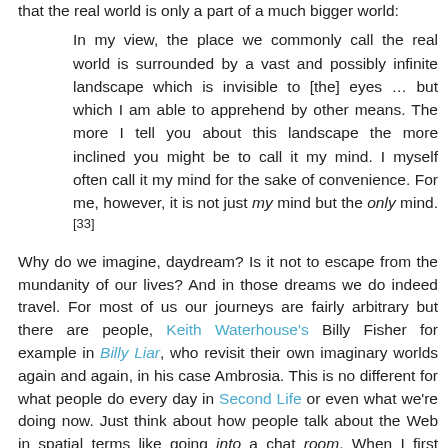that the real world is only a part of a much bigger world:
In my view, the place we commonly call the real world is surrounded by a vast and possibly infinite landscape which is invisible to [the] eyes … but which I am able to apprehend by other means. The more I tell you about this landscape the more inclined you might be to call it my mind. I myself often call it my mind for the sake of convenience. For me, however, it is not just my mind but the only mind.[33]
Why do we imagine, daydream? Is it not to escape from the mundanity of our lives? And in those dreams we do indeed travel. For most of us our journeys are fairly arbitrary but there are people, Keith Waterhouse's Billy Fisher for example in Billy Liar, who revisit their own imaginary worlds again and again, in his case Ambrosia. This is no different for what people do every day in Second Life or even what we're doing now. Just think about how people talk about the Web in spatial terms like going into a chat room. When I first logged onto the Internet and entered the word 'poetry' into a